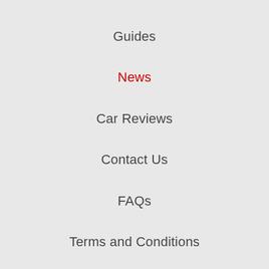Guides
News
Car Reviews
Contact Us
FAQs
Terms and Conditions
Privacy and Cookie Policy
Vans